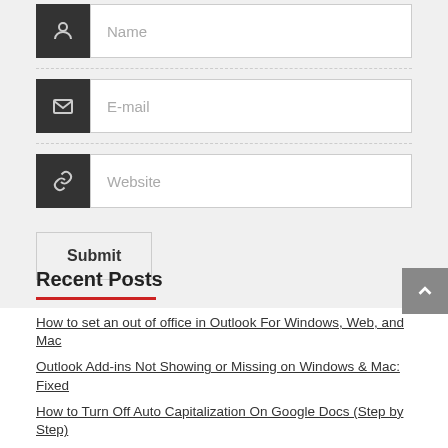Name (input field)
E-mail (input field)
Website (input field)
Submit
Recent Posts
How to set an out of office in Outlook For Windows, Web, and Mac
Outlook Add-ins Not Showing or Missing on Windows & Mac: Fixed
How to Turn Off Auto Capitalization On Google Docs (Step by Step)